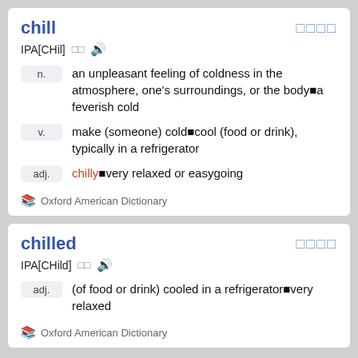chill
IPA[CHil]
n. — an unpleasant feeling of coldness in the atmosphere, one's surroundings, or the body■a feverish cold
v. — make (someone) cold■cool (food or drink), typically in a refrigerator
adj. — chilly■very relaxed or easygoing
Oxford American Dictionary
chilled
IPA[CHild]
adj. — (of food or drink) cooled in a refrigerator■very relaxed
Oxford American Dictionary